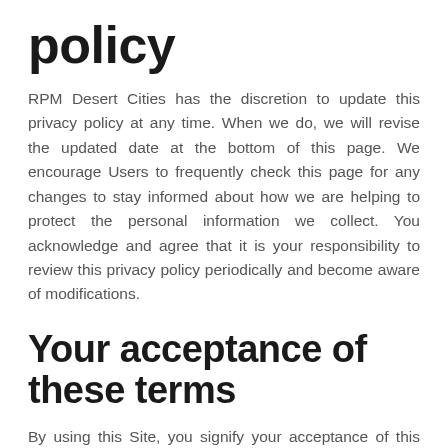policy
RPM Desert Cities has the discretion to update this privacy policy at any time. When we do, we will revise the updated date at the bottom of this page. We encourage Users to frequently check this page for any changes to stay informed about how we are helping to protect the personal information we collect. You acknowledge and agree that it is your responsibility to review this privacy policy periodically and become aware of modifications.
Your acceptance of these terms
By using this Site, you signify your acceptance of this policy. If you do not agree to this policy, please do not use our Site. Your continued use of the Site following the